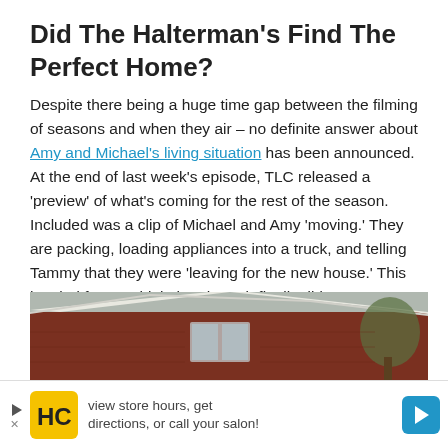Did The Halterman's Find The Perfect Home?
Despite there being a huge time gap between the filming of seasons and when they air – no definite answer about Amy and Michael's living situation has been announced. At the end of last week's episode, TLC released a 'preview' of what's coming for the rest of the season. Included was a clip of Michael and Amy 'moving.' They are packing, loading appliances into a truck, and telling Tammy that they were 'leaving for the new house.' This has led fans to think that the pair finally did agree on a place.
[Figure (photo): Partial view of a house exterior with brown/red siding and white trim, angled roofline, overcast sky]
[Figure (infographic): Advertisement banner: HC logo in yellow square, text 'view store hours, get directions, or call your salon!' with blue arrow icon on right, small play/X button on left]